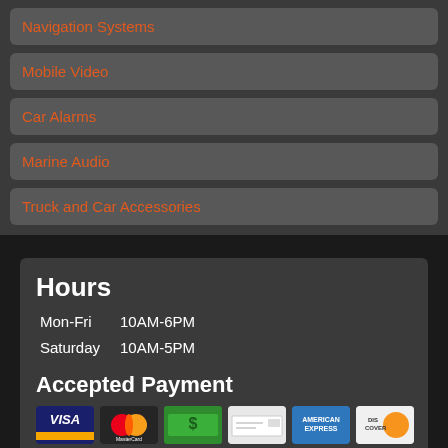Navigation Systems
Mobile Video
Car Alarms
Marine Audio
Truck and Car Accessories
Hours
Mon-Fri    10AM-6PM
Saturday  10AM-5PM
Accepted Payment
[Figure (other): Payment method icons: Visa, MasterCard, Cash, Check, American Express, Discover]